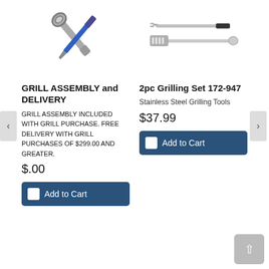[Figure (illustration): Crossed wrench and blue screwdriver tools icon]
GRILL ASSEMBLY and DELIVERY
GRILL ASSEMBLY INCLUDED WITH GRILL PURCHASE. FREE DELIVERY WITH GRILL PURCHASES OF $299.00 AND GREATER.
$.00
[Figure (illustration): Add to Cart button for Grill Assembly and Delivery]
[Figure (illustration): 2pc grilling set - tongs and spatula stainless steel tools]
2pc Grilling Set 172-947
Stainless Steel Grilling Tools
$37.99
[Figure (illustration): Add to Cart button for 2pc Grilling Set]